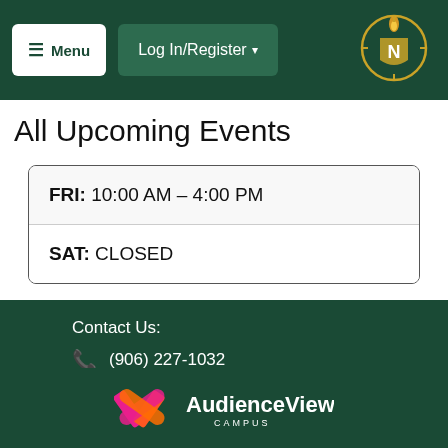≡ Menu  Log In/Register ▾
All Upcoming Events
| FRI: 10:00 AM – 4:00 PM |
| SAT: CLOSED |
Contact Us:
☎ (906) 227-1032
✉ tickets@nmu.edu
[Figure (logo): AudienceView Campus logo]